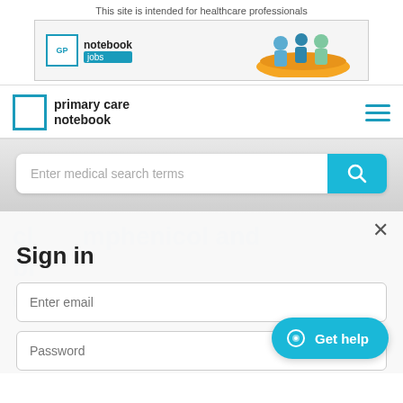This site is intended for healthcare professionals
[Figure (logo): GP Notebook Jobs advertisement banner with logo and illustrated figures]
[Figure (logo): Primary Care Notebook navigation logo with hamburger menu]
Enter medical search terms
Sign in
Enter email
Password
Remember me
Get help
chloramphenicol and bromocriptine
Chloramphenicol is available in the UK in several formulations oral